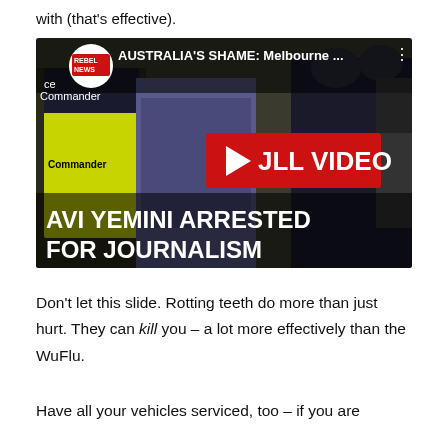with (that's effective).
[Figure (screenshot): YouTube video thumbnail from Rebel News showing police arresting Avi Yemini. Title text: 'AUSTRALIA'S SHAME: Melbourne...' with overlay text 'JLL VIDEO' and 'AVI YEMINI ARRESTED FOR JOURNALISM'. A person in a yellow police vest labeled 'Commander' is visible on the left.]
Don't let this slide. Rotting teeth do more than just hurt. They can kill you – a lot more effectively than the WuFlu.
Have all your vehicles serviced, too – if you are